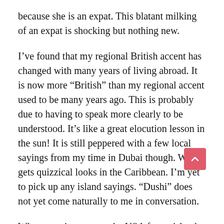because she is an expat. This blatant milking of an expat is shocking but nothing new.
I’ve found that my regional British accent has changed with many years of living abroad. It is now more “British” than my regional accent used to be many years ago. This is probably due to having to speak more clearly to be understood. It’s like a great elocution lesson in the sun! It is still peppered with a few local sayings from my time in Dubai though. Which gets quizzical looks in the Caribbean. I’m yet to pick up any island sayings. “Dushi” does not yet come naturally to me in conversation.
When popping over to the USA for an island escape and annual clothes shop my accent becomes even more “British” and quickly drops from sounding like Kathy Burke to Joanna Lumley at a drop of a hat. I could audition part on Downtown Abbey. Especially when I am told “I love